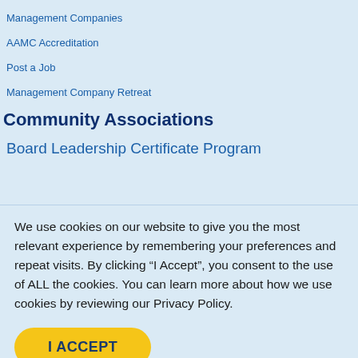Management Companies
AAMC Accreditation
Post a Job
Management Company Retreat
Community Associations
Board Leadership Certificate Program
We use cookies on our website to give you the most relevant experience by remembering your preferences and repeat visits. By clicking “I Accept”, you consent to the use of ALL the cookies. You can learn more about how we use cookies by reviewing our Privacy Policy.
I ACCEPT